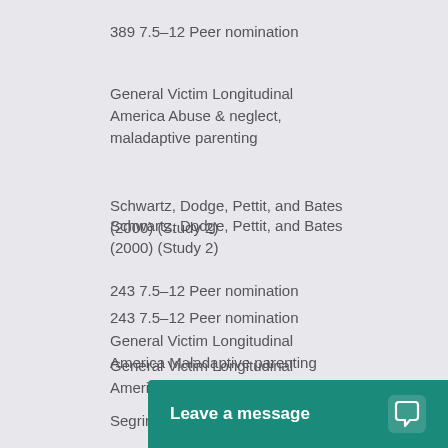389 7.5–12 Peer nomination
General Victim Longitudinal America Abuse & neglect, maladaptive parenting
Schwartz, Dodge, Pettit, and Bates (2000) (Study 2)
243 7.5–12 Peer nomination
General Victim Longitudinal America Maladaptive parenting
Segrin, Nevarez, Arroyo, and Harwood (2012)
111 12+ Se... Victim Gro...